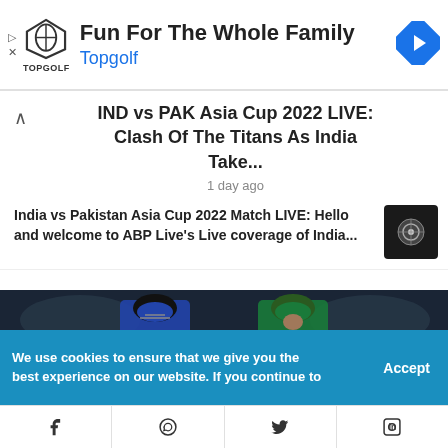[Figure (infographic): Topgolf advertisement banner with logo, text 'Fun For The Whole Family', 'Topgolf' in blue, and a blue navigation arrow icon on the right]
IND vs PAK Asia Cup 2022 LIVE: Clash Of The Titans As India Take...
1 day ago
India vs Pakistan Asia Cup 2022 Match LIVE: Hello and welcome to ABP Live's Live coverage of India...
[Figure (photo): Two cricket players facing each other, one in blue India jersey and one in green Pakistan jersey, in a stadium setting]
We use cookies to ensure that we give you the best experience on our website. If you continue to
f
WhatsApp icon
Twitter icon
in